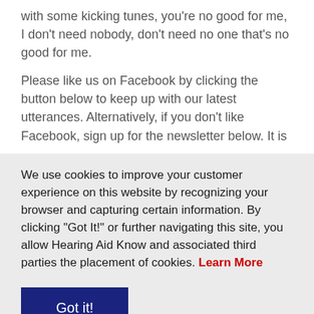with some kicking tunes, you're no good for me, I don't need nobody, don't need no one that's no good for me.
Please like us on Facebook by clicking the button below to keep up with our latest utterances. Alternatively, if you don't like Facebook, sign up for the newsletter below. It is
We use cookies to improve your customer experience on this website by recognizing your browser and capturing certain information. By clicking "Got It!" or further navigating this site, you allow Hearing Aid Know and associated third parties the placement of cookies. Learn More
Got it!